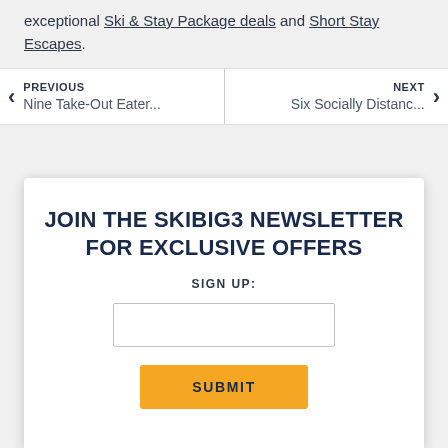exceptional Ski & Stay Package deals and Short Stay Escapes.
PREVIOUS Nine Take-Out Eater... | NEXT Six Socially Distanc...
JOIN THE SKIBIG3 NEWSLETTER FOR EXCLUSIVE OFFERS
SIGN UP:
SUBMIT